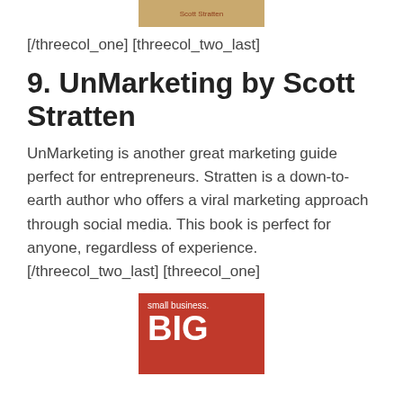[Figure (illustration): Top portion of a book cover with tan/beige background and text 'Scott Stratten' in small reddish text]
[/threecol_one] [threecol_two_last]
9. UnMarketing by Scott Stratten
UnMarketing is another great marketing guide perfect for entrepreneurs. Stratten is a down-to-earth author who offers a viral marketing approach through social media. This book is perfect for anyone, regardless of experience.
[/threecol_two_last] [threecol_one]
[Figure (illustration): Book cover with red background showing 'small business.' in white text and 'BIG' in large white bold text]